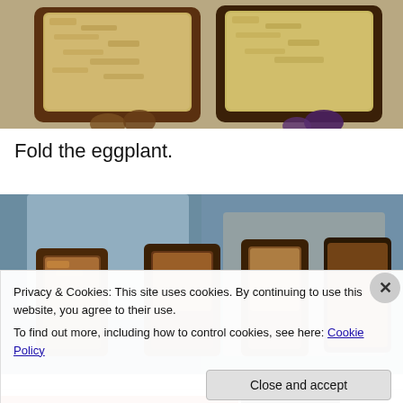[Figure (photo): Two rectangular food items (appear to be eggplant topped with a grain/oat mixture) shown from above on a magazine/book page with rotated text 'spring fruit summer flower' visible on the sides]
Fold the eggplant.
[Figure (photo): Two cooked/folded eggplant pieces shown on a magazine/book page with rotated text 'summer flower spring' visible; items appear glazed/caramelized]
Privacy & Cookies: This site uses cookies. By continuing to use this website, you agree to their use.
To find out more, including how to control cookies, see here: Cookie Policy
Close and accept